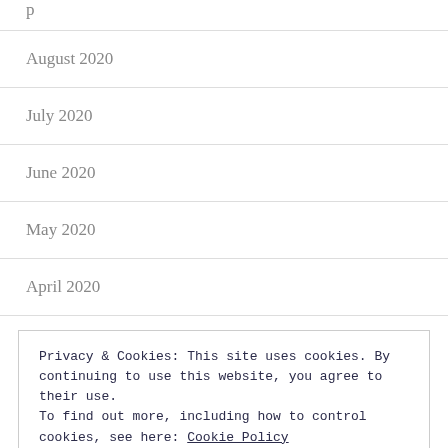p…
August 2020
July 2020
June 2020
May 2020
April 2020
Privacy & Cookies: This site uses cookies. By continuing to use this website, you agree to their use.
To find out more, including how to control cookies, see here: Cookie Policy